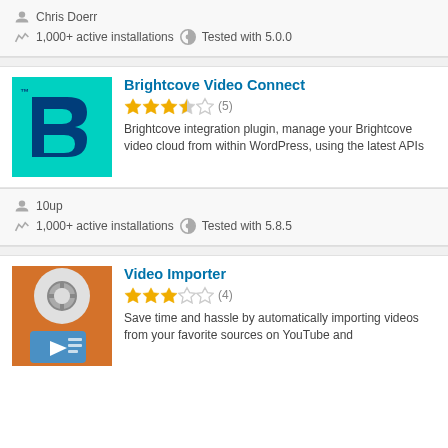Chris Doerr
1,000+ active installations   Tested with 5.0.0
Brightcove Video Connect
3.5 stars (5)
Brightcove integration plugin, manage your Brightcove video cloud from within WordPress, using the latest APIs
10up
1,000+ active installations   Tested with 5.8.5
Video Importer
3 stars (4)
Save time and hassle by automatically importing videos from your favorite sources on YouTube and